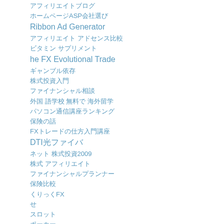アフィリエイトブログ
ホームページASP会社選び
Ribbon Ad Generator
アフィリエイト アドセンス比較
ビタミン サプリメント
he FX Evolutional Trade
ギャンブル依存
株式投資入門
ファイナンシャル相談
外国 語学校 無料で 海外留学
パソコン通信講座ランキング
保険の話
FXトレードの仕方入門講座
DTI光ファイバ
ネット 株式投資2009
株式 アフィリエイト
ファイナンシャルプランナー
保険比較
くりっくFX
せ
スロット
ポーカー